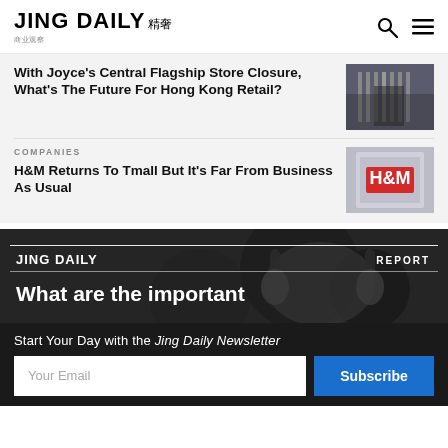JING DAILY 精奢
With Joyce's Central Flagship Store Closure, What's The Future For Hong Kong Retail?
COMPANIES
H&M Returns To Tmall But It's Far From Business As Usual
[Figure (screenshot): Report banner with Jing Daily logo and text 'What are the important']
Start Your Day with the Jing Daily Newsletter
Your Email
Subscribe